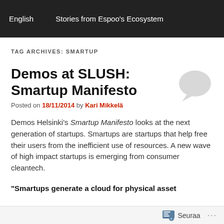English    Stories from Espoo's Ecosystem
TAG ARCHIVES: SMARTUP
Demos at SLUSH: Smartup Manifesto
Posted on 18/11/2014 by Kari Mikkelä
Demos Helsinki's Smartup Manifesto looks at the next generation of startups. Smartups are startups that help free their users from the inefficient use of resources. A new wave of high impact startups is emerging from consumer cleantech.
"Smartups generate a cloud for physical asset